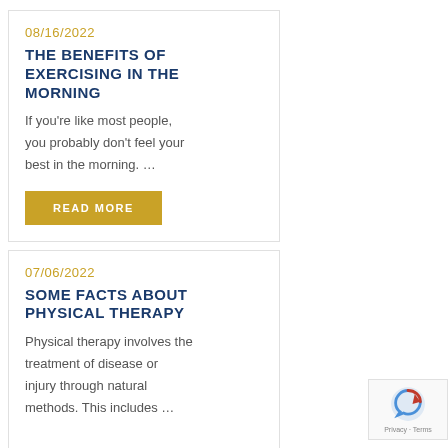08/16/2022
THE BENEFITS OF EXERCISING IN THE MORNING
If you're like most people, you probably don't feel your best in the morning. …
READ MORE
07/06/2022
SOME FACTS ABOUT PHYSICAL THERAPY
Physical therapy involves the treatment of disease or injury through natural methods. This includes …